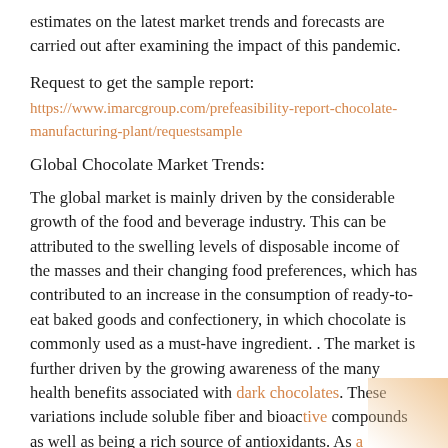estimates on the latest market trends and forecasts are carried out after examining the impact of this pandemic.
Request to get the sample report:
https://www.imarcgroup.com/prefeasibility-report-chocolate-manufacturing-plant/requestsample
Global Chocolate Market Trends:
The global market is mainly driven by the considerable growth of the food and beverage industry. This can be attributed to the swelling levels of disposable income of the masses and their changing food preferences, which has contributed to an increase in the consumption of ready-to-eat baked goods and confectionery, in which chocolate is commonly used as a must-have ingredient. . The market is further driven by the growing awareness of the many health benefits associated with dark chocolates. These variations include soluble fiber and bioactive compounds as well as being a rich source of antioxidants. As a result, and among consumption of chocolate rich in experience...